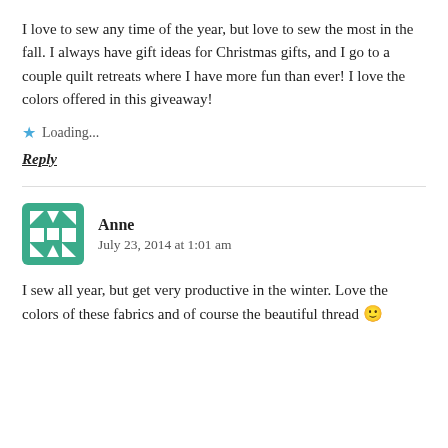I love to sew any time of the year, but love to sew the most in the fall. I always have gift ideas for Christmas gifts, and I go to a couple quilt retreats where I have more fun than ever! I love the colors offered in this giveaway!
Loading...
Reply
Anne
July 23, 2014 at 1:01 am
I sew all year, but get very productive in the winter. Love the colors of these fabrics and of course the beautiful thread 🙂